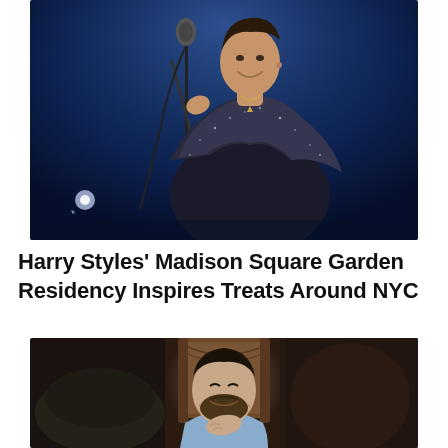[Figure (photo): Harry Styles performing on stage, smiling, holding a microphone stand, wearing a dark sparkly blazer over a black shirt with necklaces, against a blue-lit background]
Harry Styles' Madison Square Garden Residency Inspires Treats Around NYC
[Figure (photo): A bearded man smiling with his hand on his chin, sitting in what appears to be an ornate chair, wearing a light blue hoodie, flanked by darker image panels on either side]